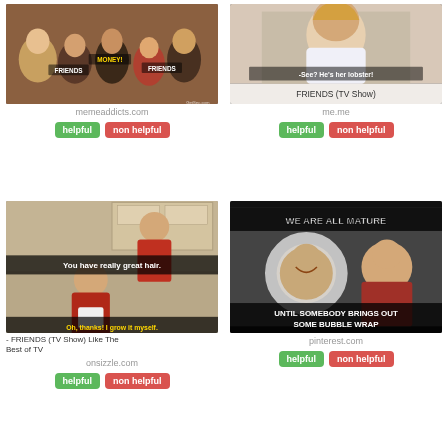[Figure (photo): FRIENDS TV show meme from memeaddicts.com showing cast group photo with text overlays 'FRIENDS', 'MONEY!', 'FRIENDS']
memeaddicts.com
helpful   non helpful
[Figure (photo): FRIENDS TV show meme from me.me showing a woman with text '-See? He's her lobster!' and label 'FRIENDS (TV Show)']
me.me
helpful   non helpful
[Figure (photo): FRIENDS TV show meme from onsizzle.com showing Chandler with hair compliment exchange: 'You have really great hair.' / 'Oh, thanks! I grow it myself.']
- FRIENDS (TV Show) Like The Best of TV
onsizzle.com
helpful   non helpful
[Figure (photo): FRIENDS meme from pinterest.com showing Joey with bubble wrap around his head and Chandler, text: 'WE ARE ALL MATURE' / 'UNTIL SOMEBODY BRINGS OUT SOME BUBBLE WRAP']
pinterest.com
helpful   non helpful